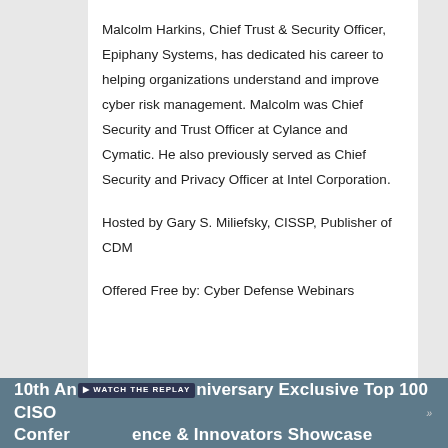Malcolm Harkins, Chief Trust & Security Officer, Epiphany Systems, has dedicated his career to helping organizations understand and improve cyber risk management. Malcolm was Chief Security and Trust Officer at Cylance and Cymatic. He also previously served as Chief Security and Privacy Officer at Intel Corporation.

Hosted by Gary S. Miliefsky, CISSP, Publisher of CDM

Offered Free by: Cyber Defense Webinars
10th Anniversary Exclusive Top 100 CISO Conference & Innovators Showcase